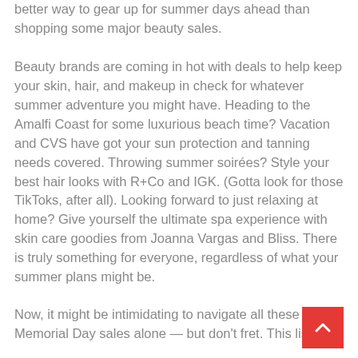better way to gear up for summer days ahead than shopping some major beauty sales.
Beauty brands are coming in hot with deals to help keep your skin, hair, and makeup in check for whatever summer adventure you might have. Heading to the Amalfi Coast for some luxurious beach time? Vacation and CVS have got your sun protection and tanning needs covered. Throwing summer soirées? Style your best hair looks with R+Co and IGK. (Gotta look for those TikToks, after all). Looking forward to just relaxing at home? Give yourself the ultimate spa experience with skin care goodies from Joanna Vargas and Bliss. There is truly something for everyone, regardless of what your summer plans might be.
Now, it might be intimidating to navigate all these Memorial Day sales alone — but don't fret. This list hits